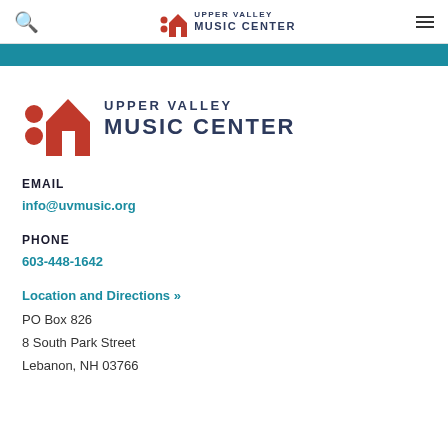Upper Valley Music Center — navigation bar with search, logo, and menu
[Figure (logo): Upper Valley Music Center logo — red house icon with two red dots, text UPPER VALLEY MUSIC CENTER in navy]
EMAIL
info@uvmusic.org
PHONE
603-448-1642
Location and Directions »
PO Box 826
8 South Park Street
Lebanon, NH 03766